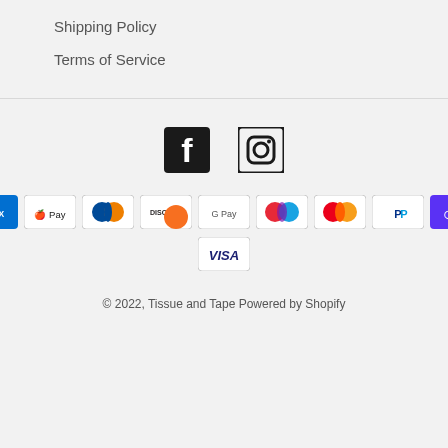Shipping Policy
Terms of Service
[Figure (infographic): Facebook and Instagram social media icons]
[Figure (infographic): Payment method badges: American Express, Apple Pay, Diners Club, Discover, Google Pay, Maestro, Mastercard, PayPal, Shop Pay, Visa]
© 2022, Tissue and Tape Powered by Shopify